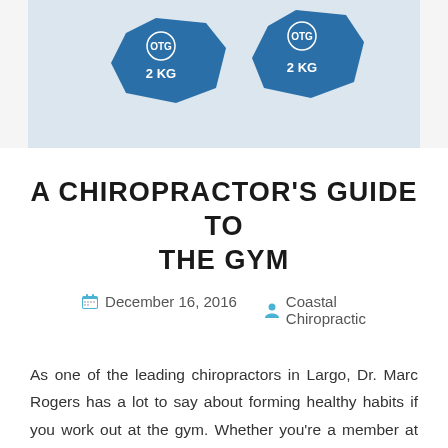[Figure (photo): Two blue hexagonal 2KG dumbbells with OTG logo branding on a light gray background]
A CHIROPRACTOR'S GUIDE TO THE GYM
December 16, 2016   Coastal Chiropractic
As one of the leading chiropractors in Largo, Dr. Marc Rogers has a lot to say about forming healthy habits if you work out at the gym. Whether you're a member at Gold's or utilize the local rec center, our chiropractor has some suggestions to improve your overall experience.